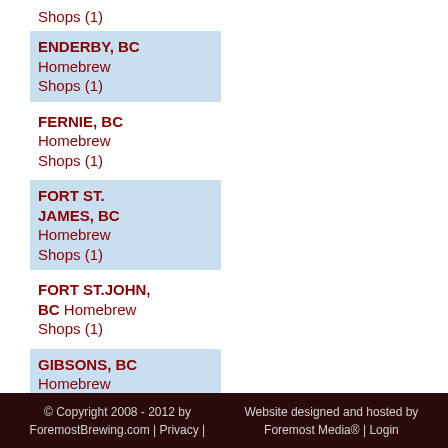Shops (1)
ENDERBY, BC Homebrew Shops (1)
FERNIE, BC Homebrew Shops (1)
FORT ST. JAMES, BC Homebrew Shops (1)
FORT ST.JOHN, BC Homebrew Shops (1)
GIBSONS, BC Homebrew
© Copyright 2008 - 2012 by ForemostBrewing.com | Privacy | Website designed and hosted by Foremost Media® | Login